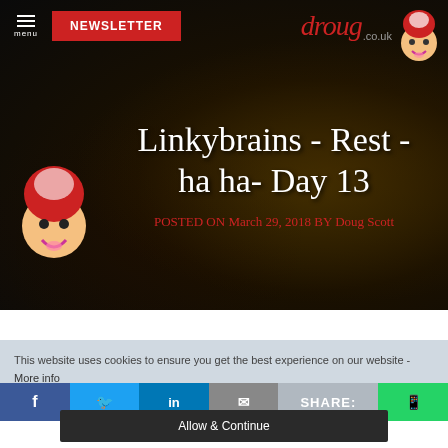menu | NEWSLETTER | droug.co.uk
Linkybrains - Rest - ha ha- Day 13
POSTED ON March 29, 2018 BY Doug Scott
This website uses cookies to ensure you get the best experience on our website - More info
SHARE:
Allow & Continue